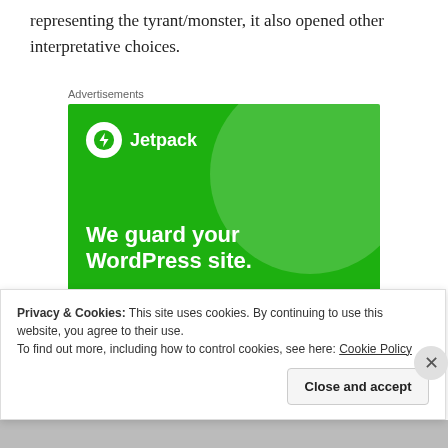representing the tyrant/monster, it also opened other interpretative choices.
Advertisements
[Figure (screenshot): Jetpack advertisement banner with green background. Shows Jetpack logo with lightning bolt icon, text 'We guard your WordPress site. You run your business.' and a 'Secure Your Site' button.]
Privacy & Cookies: This site uses cookies. By continuing to use this website, you agree to their use.
To find out more, including how to control cookies, see here: Cookie Policy
Close and accept